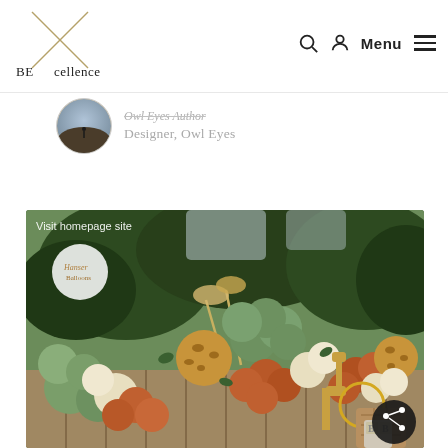[Figure (logo): BEXcellence logo with crossed diagonal lines forming an X between 'BE' and 'cellence' text]
[Figure (infographic): Navigation bar with search icon, user account icon, Menu text and hamburger icon]
[Figure (photo): Circular avatar photo of a person silhouetted against a landscape]
Designer, Owl Eyes
[Figure (photo): Balloon garland photo featuring green, orange, cream and giraffe-print balloons with greenery, a giraffe figurine, and wooden blocks. Overlay reads 'Visit homepage site' and shows a Hanser logo circle and share button.]